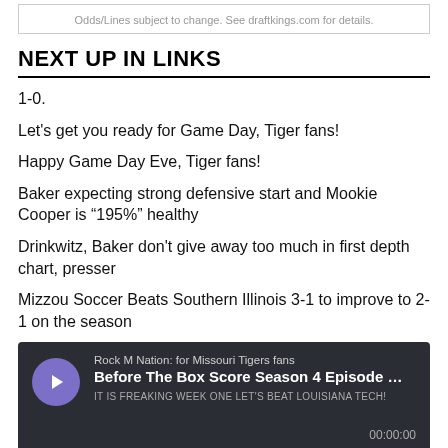Odds/Lines subject to change. See draftkings.com for details.
NEXT UP IN LINKS
1-0.
Let's get you ready for Game Day, Tiger fans!
Happy Game Day Eve, Tiger fans!
Baker expecting strong defensive start and Mookie Cooper is “195%” healthy
Drinkwitz, Baker don't give away too much in first depth chart, presser
Mizzou Soccer Beats Southern Illinois 3-1 to improve to 2-1 on the season
[Figure (other): Podcast player widget. Rock M Nation: for Missouri Tigers fans. Title: Before The Box Score Season 4 Episode ... Subtitle: IT IS FREAKING WEEK ONE LET'S BEAT LOUISIANA TECH! Time: 00:00:00]